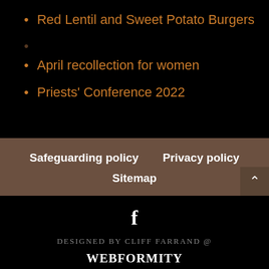Red Lentil and Sweet Potato Burgers
April recollection for women
Priests' Conference 2022
Safeguarding policy   Privacy policy   Sitemap
f
DESIGNED BY CLIFF FARRAND @
WEBFORMITY